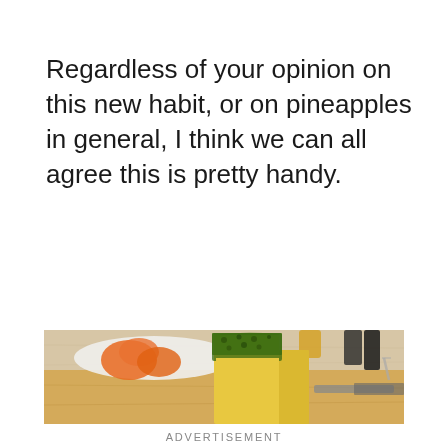Regardless of your opinion on this new habit, or on pineapples in general, I think we can all agree this is pretty handy.
[Figure (photo): Close-up photo of a pineapple slice standing upright on a wooden cutting board, with carrots and other vegetables on a white plate in the background, and kitchen items visible.]
ADVERTISEMENT